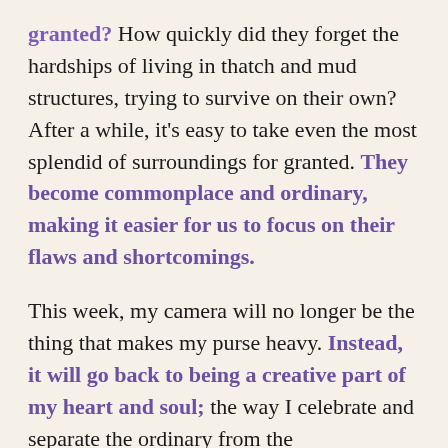granted? How quickly did they forget the hardships of living in thatch and mud structures, trying to survive on their own? After a while, it's easy to take even the most splendid of surroundings for granted. They become commonplace and ordinary, making it easier for us to focus on their flaws and shortcomings.
This week, my camera will no longer be the thing that makes my purse heavy. Instead, it will go back to being a creative part of my heart and soul; the way I celebrate and separate the ordinary from the extraordinary.
Is there something, or someone, you've taken for granted? Perhaps it's time to celebrate what's become ordinary in your life, especially if it's life…